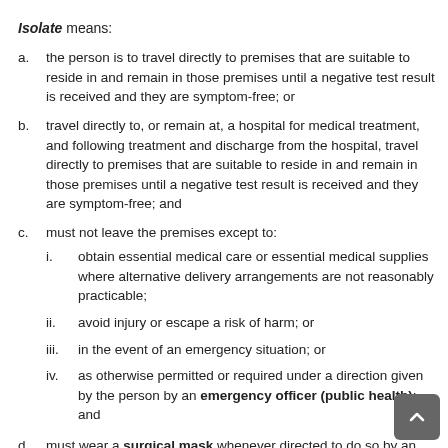Isolate means:
a. the person is to travel directly to premises that are suitable to reside in and remain in those premises until a negative test result is received and they are symptom-free; or
b. travel directly to, or remain at, a hospital for medical treatment, and following treatment and discharge from the hospital, travel directly to premises that are suitable to reside in and remain in those premises until a negative test result is received and they are symptom-free; and
c. must not leave the premises except to:
i. obtain essential medical care or essential medical supplies where alternative delivery arrangements are not reasonably practicable;
ii. avoid injury or escape a risk of harm; or
iii. in the event of an emergency situation; or
iv. as otherwise permitted or required under a direction given by the person by an emergency officer (public health); and
d. must wear a surgical mask whenever directed to do so by an emergency officer (public health) and when leaving isolation as